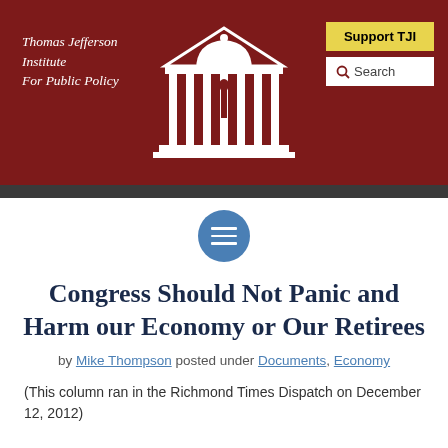Thomas Jefferson Institute For Public Policy
[Figure (logo): White illustrated classical temple/building logo centered in the dark red header banner]
Congress Should Not Panic and Harm our Economy or Our Retirees
by Mike Thompson posted under Documents, Economy
(This column ran in the Richmond Times Dispatch on December 12, 2012)